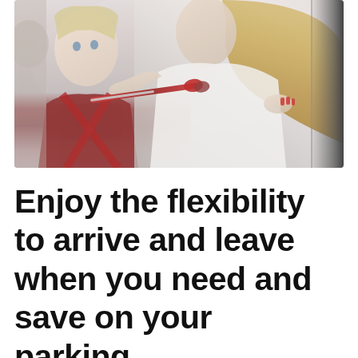[Figure (photo): A woman with long blonde hair leans into a car, helping a young child in a red car seat. The woman appears to be using scissors or a tool near the child's face/seatbelt. The scene is outdoors near a car door.]
Enjoy the flexibility to arrive and leave when you need and save on your parking